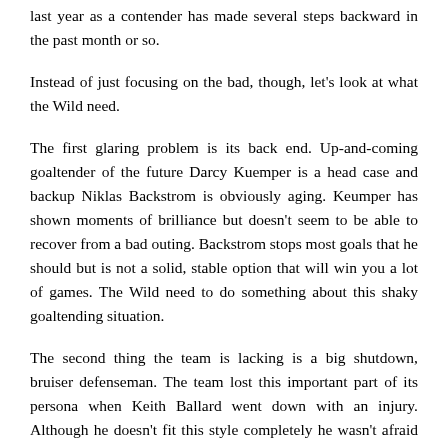last year as a contender has made several steps backward in the past month or so.
Instead of just focusing on the bad, though, let's look at what the Wild need.
The first glaring problem is its back end. Up-and-coming goaltender of the future Darcy Kuemper is a head case and backup Niklas Backstrom is obviously aging. Keumper has shown moments of brilliance but doesn't seem to be able to recover from a bad outing. Backstrom stops most goals that he should but is not a solid, stable option that will win you a lot of games. The Wild need to do something about this shaky goaltending situation.
The second thing the team is lacking is a big shutdown, bruiser defenseman. The team lost this important part of its persona when Keith Ballard went down with an injury. Although he doesn't fit this style completely he wasn't afraid of laying a hit. Although not as important as goaltending and defense this is an underrated aspect of a